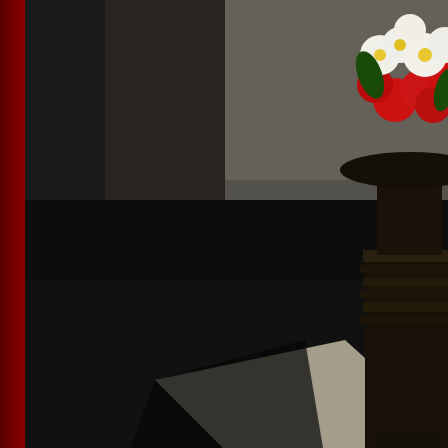[Figure (photo): Hotel lobby interior with shiny dark marble floor, a large ornate black vase/pedestal with red and white flower arrangement, and reflective surfaces]
[Figure (photo): Thumbnail: Hotel lobby interior with warm purple/magenta lighting and floral decor]
[Figure (photo): Thumbnail: Event hall or restaurant with blue/purple lighting and draped decorations]
[Figure (photo): Thumbnail: Hotel bar or lounge area with warm lighting]
[Figure (logo): Yatra 2016 Outstanding Experience Budget Hotel award badge for The Regent Park - circular white badge with dark red laurel wreath border and Yatra branding]